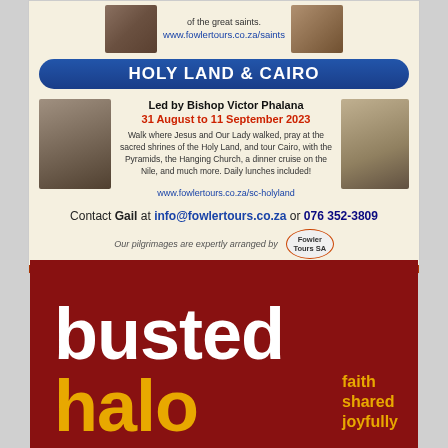[Figure (illustration): Top ad for Fowler Tours – Holy Land & Cairo pilgrimage with thumbnail photos, blue banner, body text, contact info, and Fowler Tours SA logo]
HOLY LAND & CAIRO
Led by Bishop Victor Phalana
31 August to 11 September 2023
Walk where Jesus and Our Lady walked, pray at the sacred shrines of the Holy Land, and tour Cairo, with the Pyramids, the Hanging Church, a dinner cruise on the Nile, and much more. Daily lunches included!
www.fowlertours.co.za/sc-holyland
Contact Gail at info@fowlertours.co.za or 076 352-3809
Our pilgrimages are expertly arranged by
[Figure (logo): Busted Halo – faith shared joyfully – dark red background with white 'busted' and yellow 'halo' text]